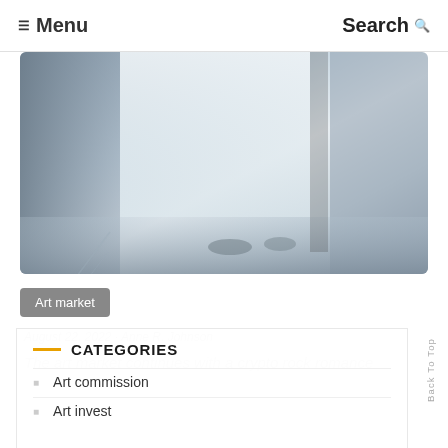Menu  Search
[Figure (photo): Blurred photograph of what appears to be art or documents on a surface, with a blueish-grey tonal range]
Art market
August 22, 2022 · Anne R. Johnson
The art market continues with a crypto rock romance
CATEGORIES
Art commission
Art invest
Art loan